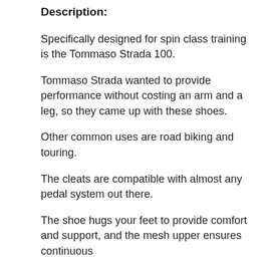Description:
Specifically designed for spin class training is the Tommaso Strada 100.
Tommaso Strada wanted to provide performance without costing an arm and a leg, so they came up with these shoes.
Other common uses are road biking and touring.
The cleats are compatible with almost any pedal system out there.
The shoe hugs your feet to provide comfort and support, and the mesh upper ensures continuous airflow.